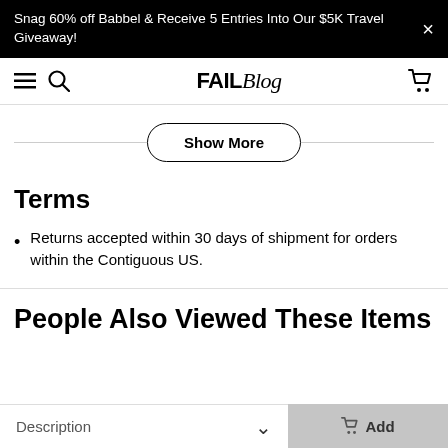Snag 60% off Babbel & Receive 5 Entries Into Our $5K Travel Giveaway!
[Figure (screenshot): FAILBlog navigation bar with hamburger menu, search icon, FAILBlog logo, and cart icon]
Show More
Terms
Returns accepted within 30 days of shipment for orders within the Contiguous US.
People Also Viewed These Items
Description    Add